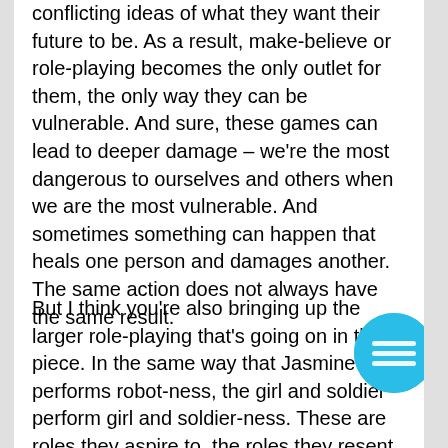conflicting ideas of what they want their future to be. As a result, make-believe or role-playing becomes the only outlet for them, the only way they can be vulnerable. And sure, these games can lead to deeper damage – we're the most dangerous to ourselves and others when we are the most vulnerable. And sometimes something can happen that heals one person and damages another. The same action does not always have the same result.
But I think you're also bringing up the larger role-playing that's going on in the piece. In the same way that Jasmine performs robot-ness, the girl and soldier perform girl and soldier-ness. These are roles they aspire to, the roles they resent, the roles they've gotten stuck in. I am interested in what's claustrophobic about being a girl or a soldier. What do these roles allow you to do? How does society talk to you, treat you, perform for? How does
[Figure (other): Cyan/blue circular menu button with three horizontal white lines (hamburger menu icon)]